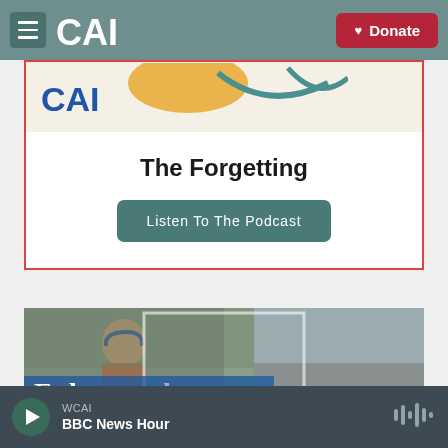CAI — Donate
[Figure (screenshot): Partial podcast card with CAI logo and yellow/teal abstract artwork, bordered in red]
The Forgetting
Listen To The Podcast
[Figure (photo): Collage photo showing a man outdoors with trees and a rocky shoreline; partial text 'Falmouth' visible at bottom]
WCAI  BBC News Hour